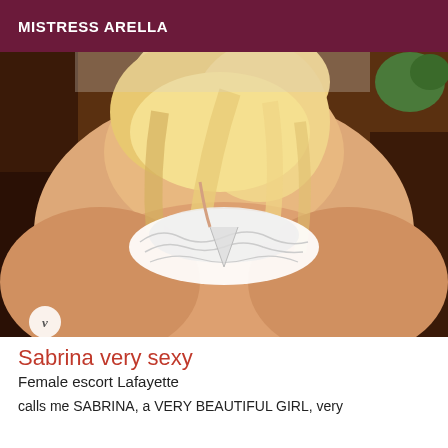MISTRESS ARELLA
[Figure (photo): Photo of a blonde woman seen from behind, wearing white lace underwear, posed on a dark background. A small watermark logo is visible in the bottom left corner.]
Sabrina very sexy
Female escort Lafayette
calls me SABRINA, a VERY BEAUTIFUL GIRL, very